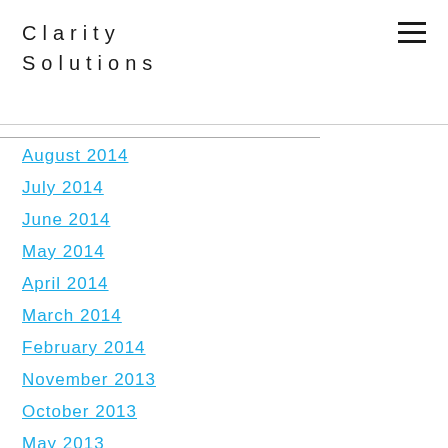Clarity Solutions
August 2014
July 2014
June 2014
May 2014
April 2014
March 2014
February 2014
November 2013
October 2013
May 2013
February 2013
January 2013
October 2012
September 2012
August 2012